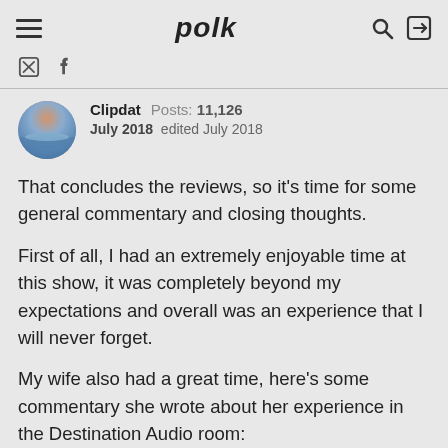polk
Clipdat  Posts: 11,126
July 2018  edited July 2018
That concludes the reviews, so it's time for some general commentary and closing thoughts.
First of all, I had an extremely enjoyable time at this show, it was completely beyond my expectations and overall was an experience that I will never forget.
My wife also had a great time, here's some commentary she wrote about her experience in the Destination Audio room: